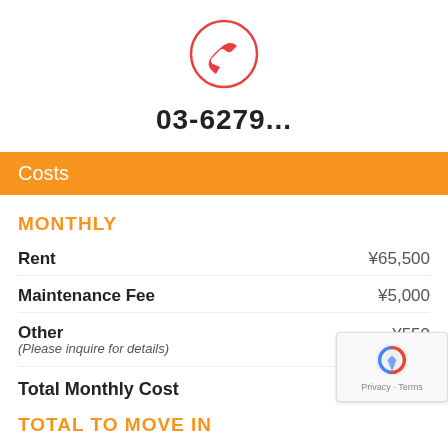[Figure (illustration): Red phone/call icon inside a red circle, centered on white background]
03-6279...
Costs
MONTHLY
| Item | Cost |
| --- | --- |
| Rent | ¥65,500 |
| Maintenance Fee | ¥5,000 |
| Other
(Please inquire for details) | ¥550 |
| Total Monthly Cost | ¥... |
TOTAL TO MOVE IN